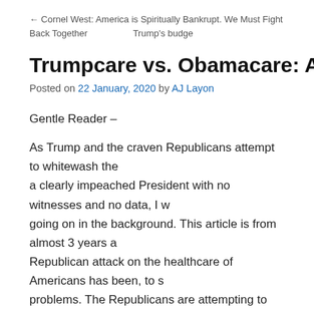← Cornel West: America is Spiritually Bankrupt. We Must Fight Back Together    Trump's budge…
Trumpcare vs. Obamacare: Apocalypse N…
Posted on 22 January, 2020 by AJ Layon
Gentle Reader –
As Trump and the craven Republicans attempt to whitewash the trial of a clearly impeached President with no witnesses and no data, I want to remind you what's going on in the background. This article is from almost 3 years ago, but the Republican attack on the healthcare of Americans has been, to say the least, without problems. The Republicans are attempting to remove protections for people with "pre-existing conditions". You know, as in sick people, the very ones for whom insurance is most important. Krugman – and many others of us – saw that this was coming when Trump was placed into office after losing the popular election. A good reason to protect our people and remove this scourge – peacefully – from…
AJL